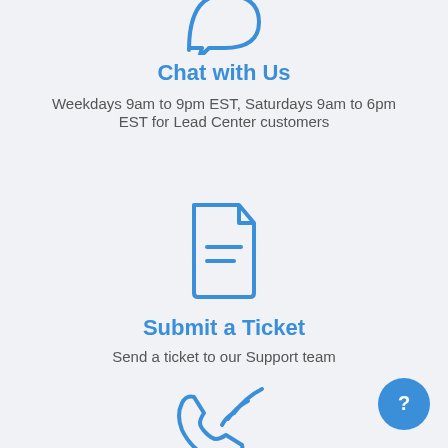[Figure (illustration): Chat bubble / support icon in blue outline style, partially visible at top]
Chat with Us
Weekdays 9am to 9pm EST, Saturdays 9am to 6pm EST for Lead Center customers
[Figure (illustration): Document/ticket icon with folded corner and two lines, in blue outline style]
Submit a Ticket
Send a ticket to our Support team
[Figure (illustration): Phone/call icon in blue outline style, partially visible at bottom]
[Figure (illustration): Blue circle with white question mark – help button in bottom right corner]